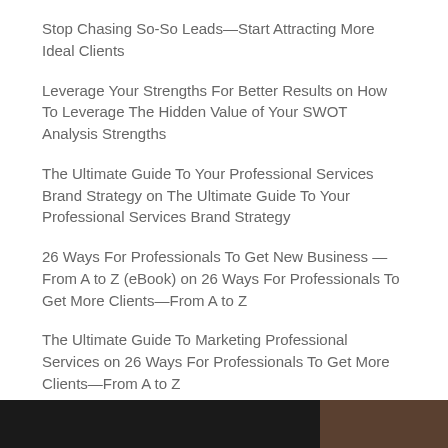Stop Chasing So-So Leads—Start Attracting More Ideal Clients
Leverage Your Strengths For Better Results on How To Leverage The Hidden Value of Your SWOT Analysis Strengths
The Ultimate Guide To Your Professional Services Brand Strategy on The Ultimate Guide To Your Professional Services Brand Strategy
26 Ways For Professionals To Get New Business — From A to Z (eBook) on 26 Ways For Professionals To Get More Clients—From A to Z
The Ultimate Guide To Marketing Professional Services on 26 Ways For Professionals To Get More Clients—From A to Z